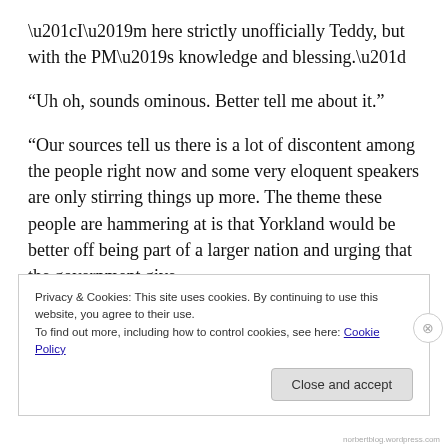“I’m here strictly unofficially Teddy, but with the PM’s knowledge and blessing.”
“Uh oh, sounds ominous. Better tell me about it.”
“Our sources tell us there is a lot of discontent among the people right now and some very eloquent speakers are only stirring things up more. The theme these people are hammering at is that Yorkland would be better off being part of a larger nation and urging that the government give
Privacy & Cookies: This site uses cookies. By continuing to use this website, you agree to their use.
To find out more, including how to control cookies, see here: Cookie Policy
Close and accept